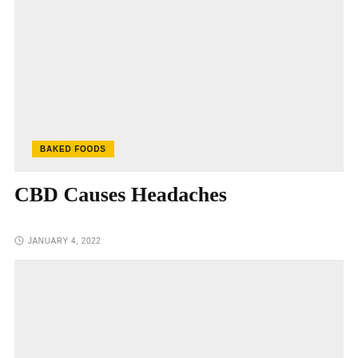[Figure (photo): Top image placeholder with light gray background and a yellow 'BAKED FOODS' badge in the lower left]
CBD Causes Headaches
JANUARY 4, 2022
[Figure (photo): Bottom image placeholder with light gray background]